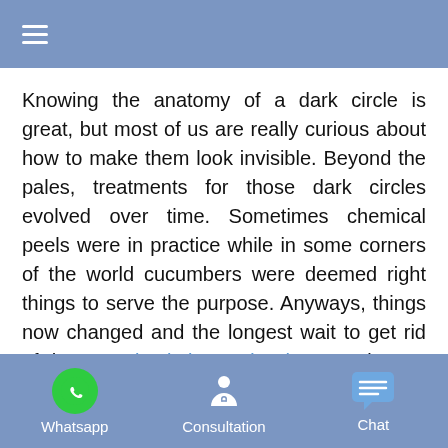≡
Knowing the anatomy of a dark circle is great, but most of us are really curious about how to make them look invisible. Beyond the pales, treatments for those dark circles evolved over time. Sometimes chemical peels were in practice while in some corners of the world cucumbers were deemed right things to serve the purpose. Anyways, things now changed and the longest wait to get rid of those Dark Circles under the Eyes is now over. Dermatologists from Dubai and all over world now equally believe that there are more enhanced ways that are instant and less invasive. The only need is to determine what suits you or what should you opt.
Whatsapp   Consultation   Chat